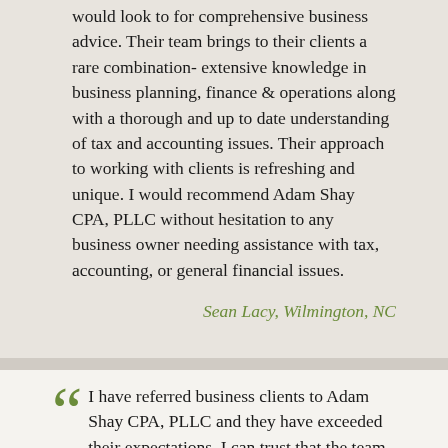would look to for comprehensive business advice. Their team brings to their clients a rare combination- extensive knowledge in business planning, finance & operations along with a thorough and up to date understanding of tax and accounting issues. Their approach to working with clients is refreshing and unique. I would recommend Adam Shay CPA, PLLC without hesitation to any business owner needing assistance with tax, accounting, or general financial issues.
Sean Lacy, Wilmington, NC
I have referred business clients to Adam Shay CPA, PLLC and they have exceeded their expectations. I can trust that the team will offer the best advice to our mutual clients to help them make sound business decisions. I would recommend Adam Shay CPA, PLLC to